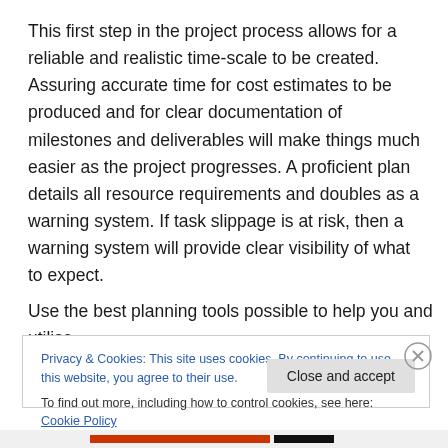This first step in the project process allows for a reliable and realistic time-scale to be created. Assuring accurate time for cost estimates to be produced and for clear documentation of milestones and deliverables will make things much easier as the project progresses. A proficient plan details all resource requirements and doubles as a warning system. If task slippage is at risk, then a warning system will provide clear visibility of what to expect.
Use the best planning tools possible to help you and utilise
Privacy & Cookies: This site uses cookies. By continuing to use this website, you agree to their use.
To find out more, including how to control cookies, see here: Cookie Policy
Close and accept